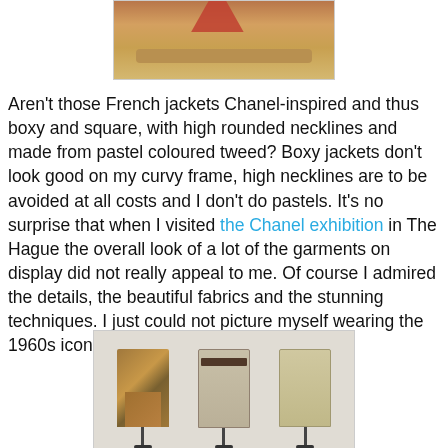[Figure (photo): Top portion of a photo showing what appears to be an exhibition display with brownish/golden tones and red element visible]
Aren't those French jackets Chanel-inspired and thus boxy and square, with high rounded necklines and made from pastel coloured tweed? Boxy jackets don't look good on my curvy frame, high necklines are to be avoided at all costs and I don't do pastels. It's no surprise that when I visited the Chanel exhibition in The Hague the overall look of a lot of the garments on display did not really appeal to me. Of course I admired the details, the beautiful fabrics and the stunning techniques. I just could not picture myself wearing the 1960s iconic jackets.
[Figure (photo): Three mannequins on display stands showing Chanel-style jackets and suits from the 1960s in a museum exhibition setting with white walls]